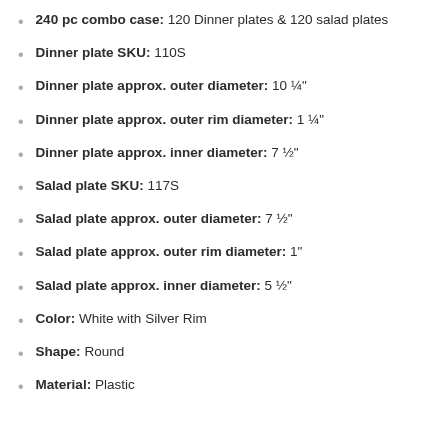240 pc combo case: 120 Dinner plates & 120 salad plates
Dinner plate SKU: 110S
Dinner plate approx. outer diameter: 10 ¼"
Dinner plate approx. outer rim diameter: 1 ¼"
Dinner plate approx. inner diameter: 7 ½"
Salad plate SKU: 117S
Salad plate approx. outer diameter: 7 ½"
Salad plate approx. outer rim diameter: 1"
Salad plate approx. inner diameter: 5 ½"
Color: White with Silver Rim
Shape: Round
Material: Plastic